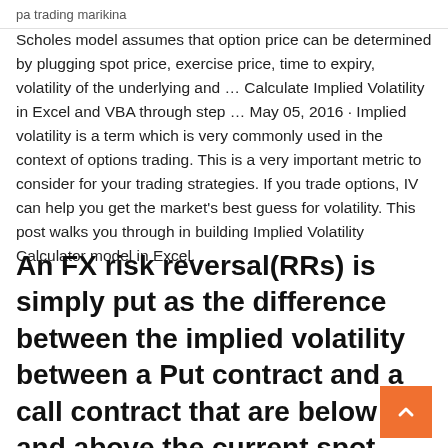pa trading marikina
Scholes model assumes that option price can be determined by plugging spot price, exercise price, time to expiry, volatility of the underlying and … Calculate Implied Volatility in Excel and VBA through step … May 05, 2016 · Implied volatility is a term which is very commonly used in the context of options trading. This is a very important metric to consider for your trading strategies. If you trade options, IV can help you get the market's best guess for volatility. This post walks you through in building Implied Volatility Calculator model in Excel.
An FX risk reversal(RRs) is simply put as the difference between the implied volatility between a Put contract and a call contract that are below and above the current spot price respectively. Simply put IV of